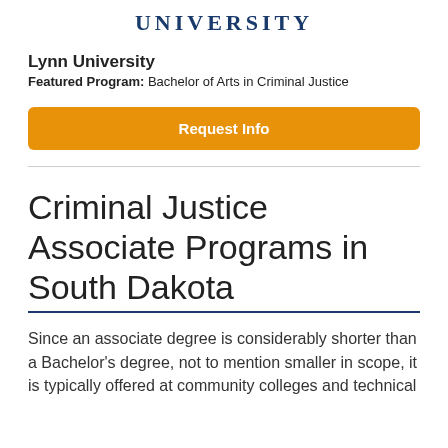UNIVERSITY
Lynn University
Featured Program: Bachelor of Arts in Criminal Justice
Request Info
Criminal Justice Associate Programs in South Dakota
Since an associate degree is considerably shorter than a Bachelor's degree, not to mention smaller in scope, it is typically offered at community colleges and technical